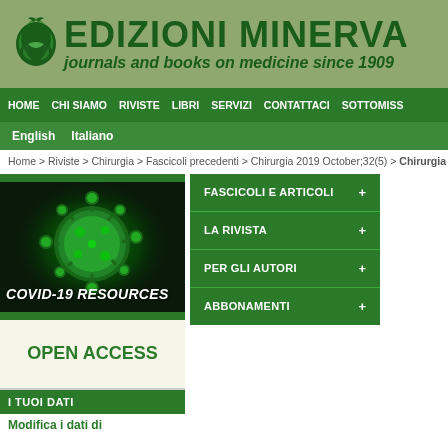[Figure (logo): Edizioni Minerva Medica logo with Minerva helmet icon, title 'EDIZIONI MINERVA' and subtitle 'journals and books on medicine since 1909']
HOME  CHI SIAMO  RIVISTE  LIBRI  SERVIZI  CONTATTACI  SOTTOMISS
English  Italiano
Home > Riviste > Chirurgia > Fascicoli precedenti > Chirurgia 2019 October;32(5) > Chirurgia
[Figure (photo): COVID-19 virus illustration with green glowing coronavirus image and 'COVID-19 RESOURCES' text overlay]
OPEN ACCESS
I TUOI DATI
Modifica i dati di
[Figure (screenshot): Dropdown navigation menu with items: FASCICOLI E ARTICOLI, LA RIVISTA, PER GLI AUTORI, ABBONAMENTI each with + toggle]